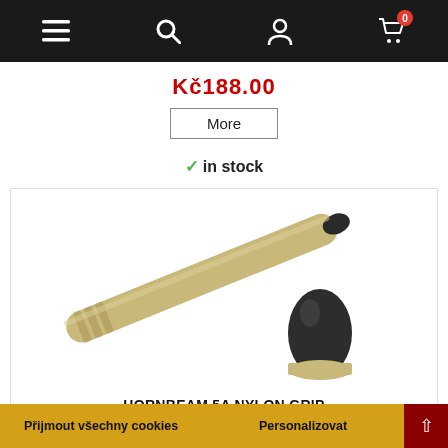Navigation bar with menu, search, account, and cart (0 items) icons
Kč188.00
More
✓ in stock
[Figure (photo): Product photo of Hornbeam 5A Nylon Grip drumstick – a gold/beige stick with black nylon tip shown assembled and with tip detached]
HORNBEAM 5A NYLON GRIP
Review(s): 0
Length: 406 mm Diameter: 14 mm Aplicaion: Universal model suitable to all.
This eshop uses cookies to provide services, personalize ads, and analyze traffic.
Více informací
Kč152.00
More
Přijmout všechny cookies
Personalizovat